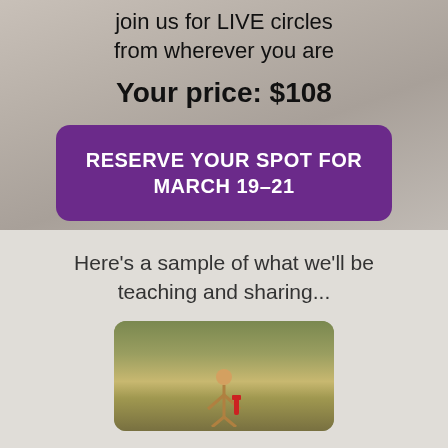join us for LIVE circles from wherever you are
Your price: $108
RESERVE YOUR SPOT FOR MARCH 19–21
Here's a sample of what we'll be teaching and sharing...
[Figure (photo): A person standing in a field with dry grassy vegetation, with a red-accented object or equipment nearby]